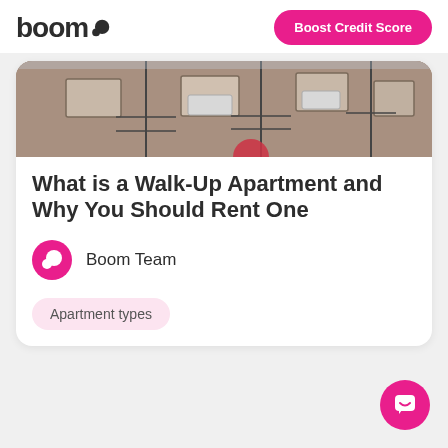boom
Boost Credit Score
[Figure (photo): Photo of a brick apartment building facade with fire escapes and air conditioning units on windows.]
What is a Walk-Up Apartment and Why You Should Rent One
Boom Team
Apartment types